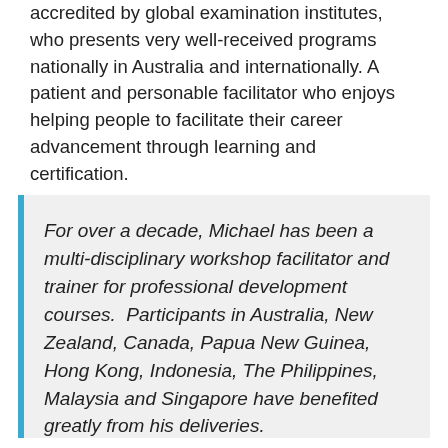accredited by global examination institutes, who presents very well-received programs nationally in Australia and internationally. A patient and personable facilitator who enjoys helping people to facilitate their career advancement through learning and certification.
For over a decade, Michael has been a multi-disciplinary workshop facilitator and trainer for professional development courses.  Participants in Australia, New Zealand, Canada, Papua New Guinea, Hong Kong, Indonesia, The Philippines, Malaysia and Singapore have benefited greatly from his deliveries.